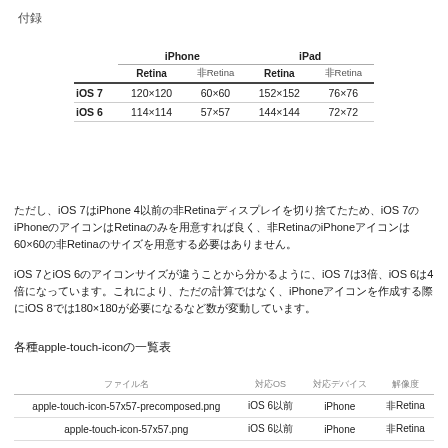付録
|  | iPhone Retina | iPhone 非Retina | iPad Retina | iPad 非Retina |
| --- | --- | --- | --- | --- |
| iOS 7 | 120×120 | 60×60 | 152×152 | 76×76 |
| iOS 6 | 114×114 | 57×57 | 144×144 | 72×72 |
ただし、iOS 7はiPhone 4以前の非Retinaディスプレイを切り捨てたため、iOS 7のiPhoneのアイコンはRetinaのみを用意すれば良く、非RetinaのiPhoneアイコンは60×60の非Retinaのサイズを用意する必要はありません。
iOS 7とiOS 6のアイコンサイズが違うことから分かるように、iOS 7は3倍、iOS 6は4倍になっています。これにより、ただの計算ではなく、iPhoneアイコンを作成する際にiOS 8では180×180が必要になるなど数が変動しています。
各種apple-touch-iconの一覧表
| ファイル名 | 対応OS | 対応デバイス | 解像度 |
| --- | --- | --- | --- |
| apple-touch-icon-57x57-precomposed.png | iOS 6以前 | iPhone | 非Retina |
| apple-touch-icon-57x57.png | iOS 6以前 | iPhone | 非Retina |